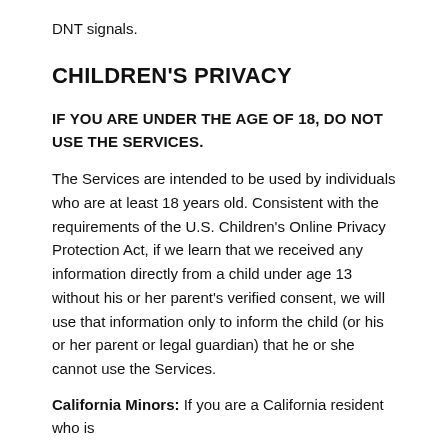DNT signals.
CHILDREN'S PRIVACY
IF YOU ARE UNDER THE AGE OF 18, DO NOT USE THE SERVICES.
The Services are intended to be used by individuals who are at least 18 years old. Consistent with the requirements of the U.S. Children's Online Privacy Protection Act, if we learn that we received any information directly from a child under age 13 without his or her parent's verified consent, we will use that information only to inform the child (or his or her parent or legal guardian) that he or she cannot use the Services.
California Minors:  If you are a California resident who is